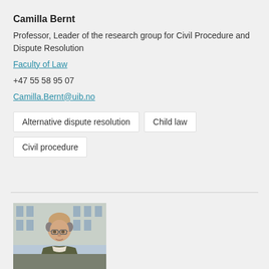Camilla Bernt
Professor, Leader of the research group for Civil Procedure and Dispute Resolution
Faculty of Law
+47 55 58 95 07
Camilla.Bernt@uib.no
Alternative dispute resolution
Child law
Civil procedure
[Figure (photo): Portrait photo of a middle-aged man with glasses, balding head, wearing a jacket, photographed outdoors with a building in background]